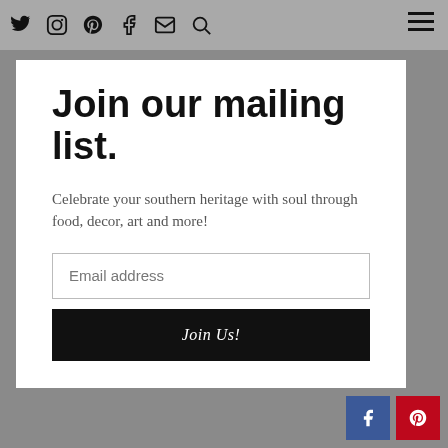Twitter Instagram Pinterest Facebook Email Search | Hamburger menu
Join our mailing list.
Celebrate your southern heritage with soul through food, decor, art and more!
Email address
Join Us!
[Figure (other): Facebook and Pinterest social media icon buttons at bottom right]